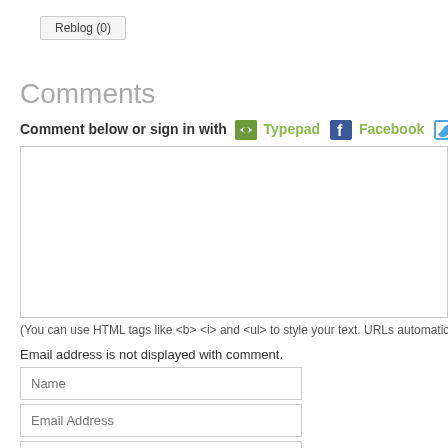Reblog (0)
Comments
Comment below or sign in with Typepad Facebook Twitter a
(You can use HTML tags like <b> <i> and <ul> to style your text. URLs automatically link
Email address is not displayed with comment.
Name
Email Address
Web Site URL